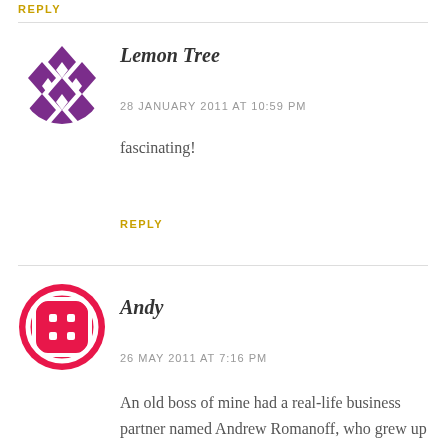REPLY
Lemon Tree
28 JANUARY 2011 AT 10:59 PM
fascinating!
REPLY
[Figure (illustration): Purple geometric/diamond patterned circular avatar for user Lemon Tree]
Andy
26 MAY 2011 AT 7:16 PM
An old boss of mine had a real-life business partner named Andrew Romanoff, who grew up
[Figure (illustration): Red/pink circular badge-style avatar with four square dots and decorative border for user Andy]